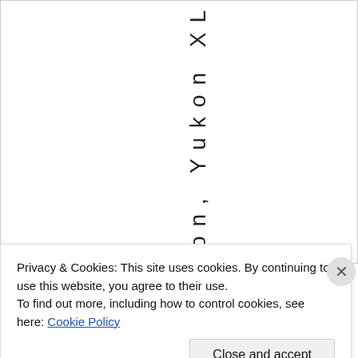ukon, Yukon XL
Privacy & Cookies: This site uses cookies. By continuing to use this website, you agree to their use. To find out more, including how to control cookies, see here: Cookie Policy
Close and accept